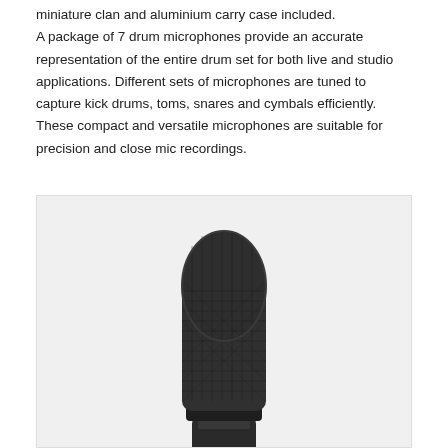miniature clan and aluminium carry case included. A package of 7 drum microphones provide an accurate representation of the entire drum set for both live and studio applications. Different sets of microphones are tuned to capture kick drums, toms, snares and cymbals efficiently. These compact and versatile microphones are suitable for precision and close mic recordings.
[Figure (photo): Close-up photo of a dark/black dynamic microphone capsule with a mesh grille, shot against a light gray background. The microphone body and grill mesh are visible, showing a professional drum or vocal microphone.]